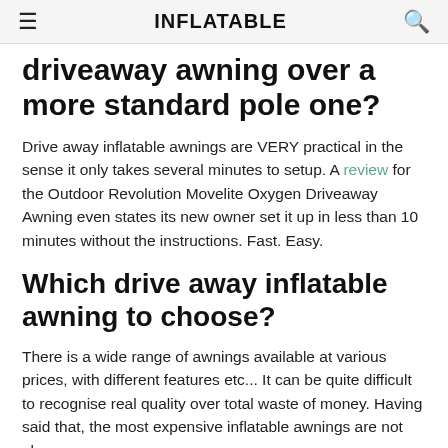☰ INFLATABLE 🔍
driveaway awning over a more standard pole one?
Drive away inflatable awnings are VERY practical in the sense it only takes several minutes to setup. A review for the Outdoor Revolution Movelite Oxygen Driveaway Awning even states its new owner set it up in less than 10 minutes without the instructions. Fast. Easy.
Which drive away inflatable awning to choose?
There is a wide range of awnings available at various prices, with different features etc... It can be quite difficult to recognise real quality over total waste of money. Having said that, the most expensive inflatable awnings are not always the best. And cheaper ones are not necessarily the bad ones.